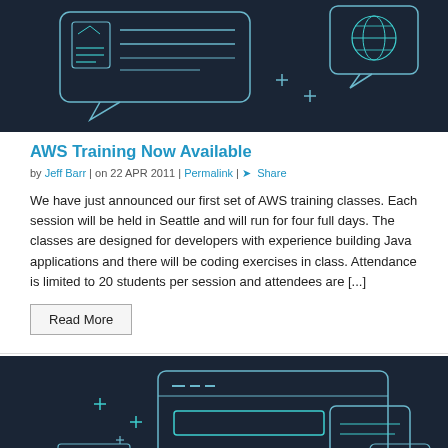[Figure (illustration): Dark navy background illustration showing a speech bubble with a document/chart icon and text lines, plus a globe icon in a chat bubble, with decorative plus signs]
AWS Training Now Available
by Jeff Barr | on 22 APR 2011 | Permalink | Share
We have just announced our first set of AWS training classes. Each session will be held in Seattle and will run for four full days. The classes are designed for developers with experience building Java applications and there will be coding exercises in class. Attendance is limited to 20 students per session and attendees are [...]
Read More
[Figure (illustration): Dark navy background illustration showing a laptop/tablet with interface elements, a speech bubble, and a globe icon, with decorative plus signs]